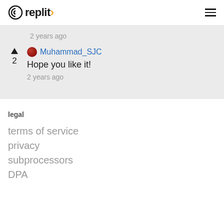replit
2 years ago
Muhammad_SJC
Hope you like it!
2 years ago
legal
terms of service
privacy
subprocessors
DPA